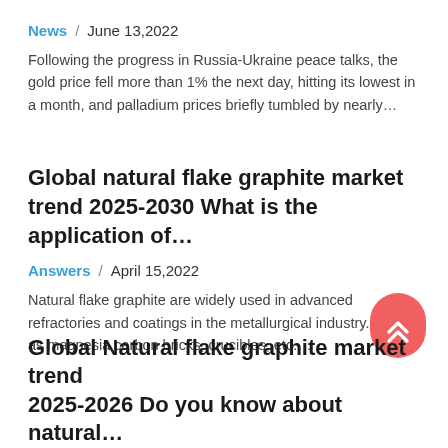News / June 13,2022
Following the progress in Russia-Ukraine peace talks, the gold price fell more than 1% the next day, hitting its lowest in a month, and palladium prices briefly tumbled by nearly...
Global natural flake graphite market trend 2025-2030 What is the application of...
Answers / April 15,2022
Natural flake graphite are widely used in advanced refractories and coatings in the metallurgical industry. Such as magnesia carbon bricks, crucibles, etc....
Global Natural flake graphite market trend 2025-2026 Do you know about natural...